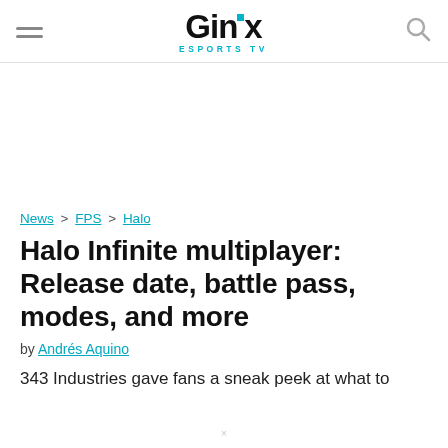GINX ESPORTS TV
News > FPS > Halo
Halo Infinite multiplayer: Release date, battle pass, modes, and more
by Andrés Aquino
343 Industries gave fans a sneak peek at what to